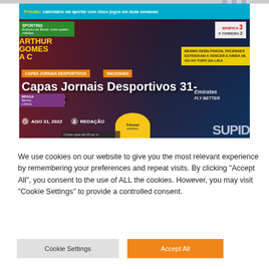[Figure (screenshot): Screenshot of a Portuguese sports news website showing a newspaper front page article titled 'Capas Jornais Desportivos 31-08-2022' with date AGO 31, 2022 and author REDAÇÃO. The image shows a soccer/football player in red Benfica jersey (Emirates sponsor), with overlaid navigation tags 'CAPAS JORNAIS DESPORTIVOS' and 'NACIONAIS', and a score box showing BENFICA 3 - P. FERREIRA 2.]
We use cookies on our website to give you the most relevant experience by remembering your preferences and repeat visits. By clicking "Accept All", you consent to the use of ALL the cookies. However, you may visit "Cookie Settings" to provide a controlled consent.
Cookie Settings
Accept All